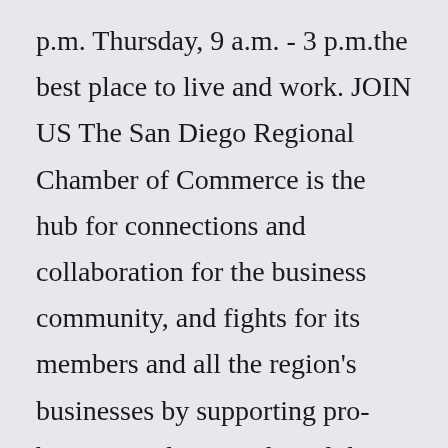p.m. Thursday, 9 a.m. - 3 p.m.the best place to live and work. JOIN US The San Diego Regional Chamber of Commerce is the hub for connections and collaboration for the business community, and fights for its members and all the region's businesses by supporting pro-business policies and candidates. Policy The Chamber leverages the political clout of the business community ...Over one hundred years ago,